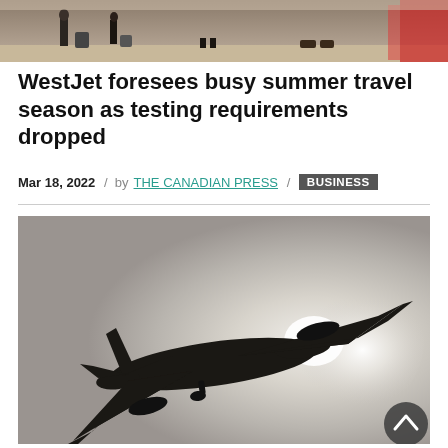[Figure (photo): Airport scene with people and luggage at top of page]
WestJet foresees busy summer travel season as testing requirements dropped
Mar 18, 2022 / by THE CANADIAN PRESS / BUSINESS
[Figure (photo): Silhouette of an airplane flying against a bright grey sky with sun glare, viewed from below]